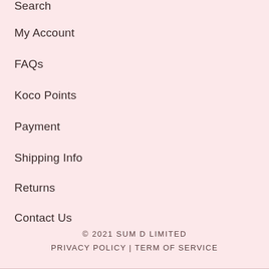Search
My Account
FAQs
Koco Points
Payment
Shipping Info
Returns
Contact Us
© 2021 SUM D LIMITED
PRIVACY POLICY | TERM OF SERVICE